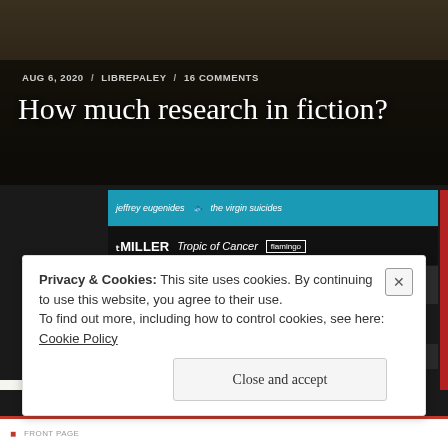[Figure (photo): Background photo of books stacked horizontally with titles including Jeffrey Eugenides The Virgin Suicides, Miller Tropic of Cancer, Yukio Mishima Spring Snow, Daren King Manual, Dylan Thomas Under Milk Wood, and other books visible. A desk with pencil and glasses visible at the top.]
AUG 6, 2020 / LIBREPALEY / 16 COMMENTS
How much research in fiction?
Privacy & Cookies: This site uses cookies. By continuing to use this website, you agree to their use.
To find out more, including how to control cookies, see here: Cookie Policy
Close and accept